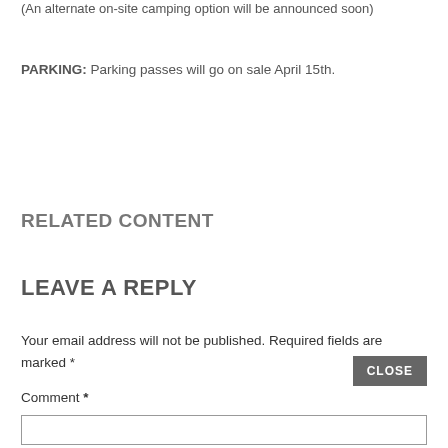(An alternate on-site camping option will be announced soon)
PARKING: Parking passes will go on sale April 15th.
RELATED CONTENT
LEAVE A REPLY
Your email address will not be published. Required fields are marked *
Comment *